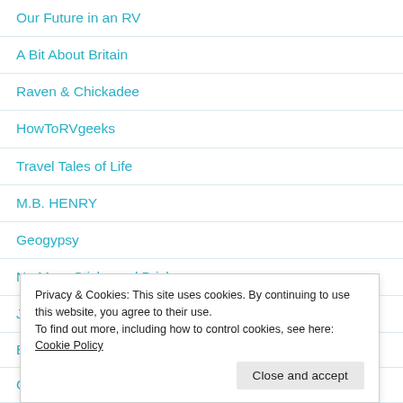Our Future in an RV
A Bit About Britain
Raven & Chickadee
HowToRVgeeks
Travel Tales of Life
M.B. HENRY
Geogypsy
No More Sticks and Bricks
Jim and Barb's RV Adventure
Privacy & Cookies: This site uses cookies. By continuing to use this website, you agree to their use.
To find out more, including how to control cookies, see here: Cookie Policy
Close and accept